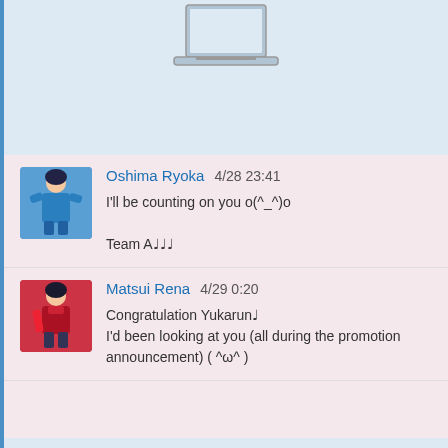[Figure (illustration): Laptop/computer icon at the top of the page]
Oshima Ryoka  4/28 23:41
I'll be counting on you o(^_^)o
Team A🎵🎵🎵
Matsui Rena  4/29 0:20
Congratulation Yukarun🎵
I'd been looking at you (all during the promotion announcement) ( ^ω^ )